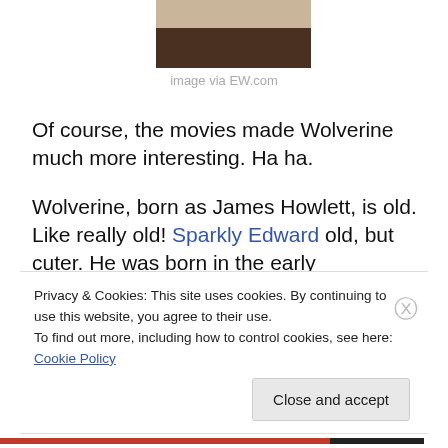[Figure (photo): Partial photo of a person, cropped at top, showing torso/shoulders against a dark brown background]
image via EW.com
Of course, the movies made Wolverine much more interesting. Ha ha.
Wolverine, born as James Howlett, is old. Like really old! Sparkly Edward old, but cuter. He was born in the early
Privacy & Cookies: This site uses cookies. By continuing to use this website, you agree to their use.
To find out more, including how to control cookies, see here: Cookie Policy